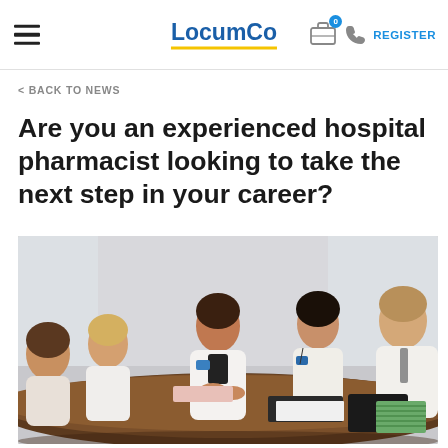LocumCo — REGISTER
< BACK TO NEWS
Are you an experienced hospital pharmacist looking to take the next step in your career?
[Figure (photo): Group of healthcare professionals in white coats sitting around a conference table in a meeting room. A woman in a white lab coat with a badge appears to be leading the discussion.]